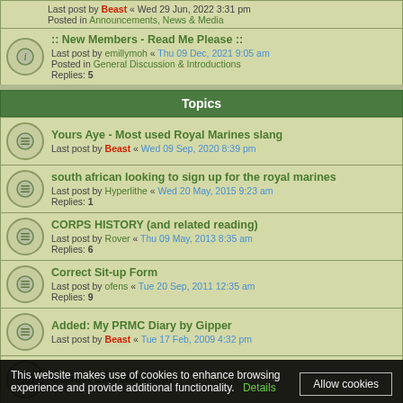Last post by Beast « Wed 29 Jun, 2022 3:31 pm
Posted in Announcements, News & Media
:: New Members - Read Me Please ::
Last post by emillymoh « Thu 09 Dec, 2021 9:05 am
Posted in General Discussion & Introductions
Replies: 5
Topics
Yours Aye - Most used Royal Marines slang
Last post by Beast « Wed 09 Sep, 2020 8:39 pm
south african looking to sign up for the royal marines
Last post by Hyperlithe « Wed 20 May, 2015 9:23 am
Replies: 1
CORPS HISTORY (and related reading)
Last post by Rover « Thu 09 May, 2013 8:35 am
Replies: 6
Correct Sit-up Form
Last post by ofens « Tue 20 Sep, 2011 12:35 am
Replies: 9
Added: My PRMC Diary by Gipper
Last post by Beast « Tue 17 Feb, 2009 4:32 pm
Correct Exercise Form
This website makes use of cookies to enhance browsing experience and provide additional functionality. Details  Allow cookies